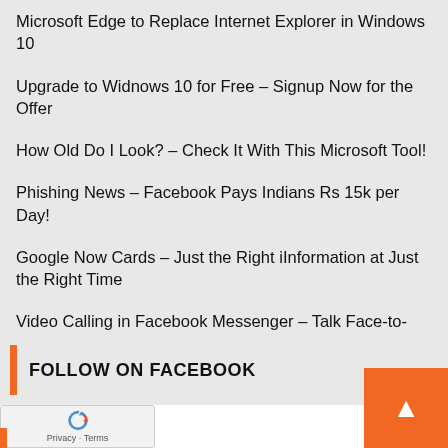Microsoft Edge to Replace Internet Explorer in Windows 10
Upgrade to Widnows 10 for Free – Signup Now for the Offer
How Old Do I Look? – Check It With This Microsoft Tool!
Phishing News – Facebook Pays Indians Rs 15k per Day!
Google Now Cards – Just the Right iInformation at Just the Right Time
Video Calling in Facebook Messenger – Talk Face-to-Face
FOLLOW ON FACEBOOK
[Figure (other): reCAPTCHA widget with Privacy and Terms links, and an orange scroll-to-top button with upward arrow]